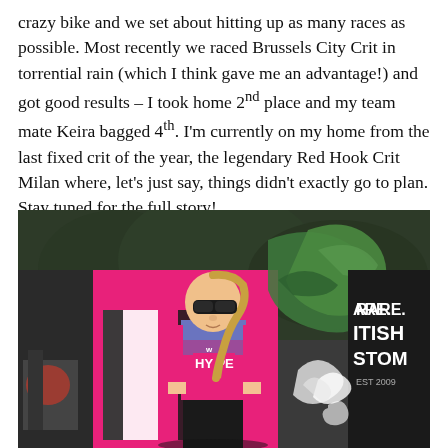crazy bike and we set about hitting up as many races as possible. Most recently we raced Brussels City Crit in torrential rain (which I think gave me an advantage!) and got good results – I took home 2nd place and my team mate Keira bagged 4th. I'm currently on my home from the last fixed crit of the year, the legendary Red Hook Crit Milan where, let's just say, things didn't exactly go to plan. Stay tuned for the full story!
[Figure (photo): A female cyclist wearing a pink and blue HYPE Energy race jersey and sunglasses, standing in front of a pink van/truck with graffiti artwork showing a green bird/phoenix and white flame designs. Text on a dark panel on the right side reads 'RARE. BRITISH CUSTOM EST 2009'.]